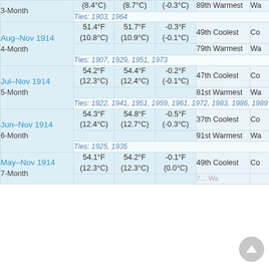| Period | Actual | Mean | Departure | Rank |  |
| --- | --- | --- | --- | --- | --- |
| 3-Month | (8.4°C) | (8.7°C) | (-0.3°C) | 89th Warmest | Wa |
|  |  |  |  | Ties: 1903, 1964 |  |
| Aug–Nov 1914 / 4-Month | 51.4°F (10.8°C) | 51.7°F (10.9°C) | -0.3°F (-0.1°C) | 49th Coolest / 79th Warmest | Co / Wa |
|  |  |  |  | Ties: 1907, 1929, 1951, 1973 |  |
| Jul–Nov 1914 / 5-Month | 54.2°F (12.3°C) | 54.4°F (12.4°C) | -0.2°F (-0.1°C) | 47th Coolest / 81st Warmest | Co / Wa |
|  |  |  |  | Ties: 1922, 1941, 1951, 1959, 1961, 1972, 1983, 1986, 1989 |  |
| Jun–Nov 1914 / 6-Month | 54.3°F (12.4°C) | 54.8°F (12.7°C) | -0.5°F (-0.3°C) | 37th Coolest / 91st Warmest | Co / Wa |
|  |  |  |  | Ties: 1925, 1935 |  |
| May–Nov 1914 / 7-Month | 54.1°F (12.3°C) | 54.2°F (12.3°C) | -0.1°F (0.0°C) | 49th Coolest | Co |